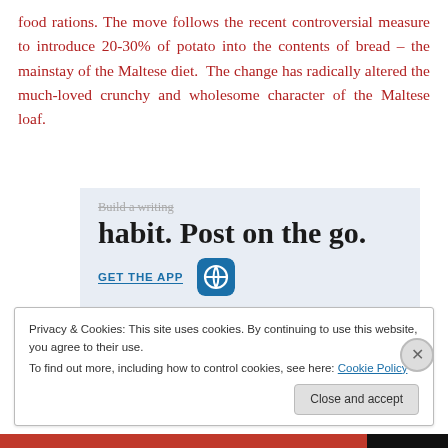food rations. The move follows the recent controversial measure to introduce 20-30% of potato into the contents of bread – the mainstay of the Maltese diet. The change has radically altered the much-loved crunchy and wholesome character of the Maltese loaf.
[Figure (screenshot): WordPress app advertisement showing text 'Build a writing habit. Post on the go.' with a GET THE APP call-to-action and WordPress logo icon]
Privacy & Cookies: This site uses cookies. By continuing to use this website, you agree to their use.
To find out more, including how to control cookies, see here: Cookie Policy